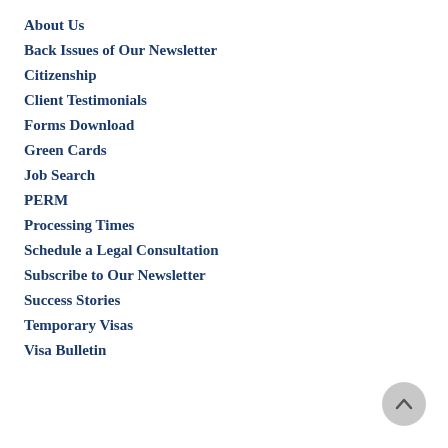About Us
Back Issues of Our Newsletter
Citizenship
Client Testimonials
Forms Download
Green Cards
Job Search
PERM
Processing Times
Schedule a Legal Consultation
Subscribe to Our Newsletter
Success Stories
Temporary Visas
Visa Bulletin